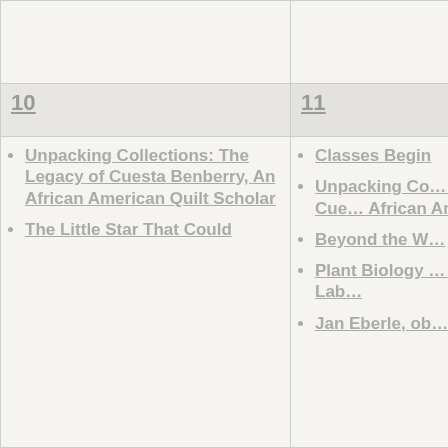|  | 10 | 11 |
| --- | --- | --- |
|  | • Unpacking Collections: The Legacy of Cuesta Benberry, An African American Quilt Scholar
• The Little Star That Could | • Classes Begin
• Unpacking Co... Legacy of Cue... African Ameri...
• Beyond the W...
• Plant Biology ... Research Lab...
• Jan Eberle, ob... |